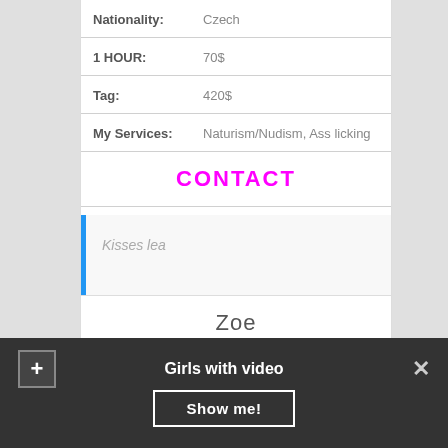| Field | Value |
| --- | --- |
| Nationality: | Czech |
| 1 HOUR: | 70$ |
| Tag: | 420$ |
| My Services: | Naturism/Nudism, Ass licking |
CONTACT
Kisses lea
Zoe
[Figure (photo): Partial photo, mostly gray background, bottom of page]
Girls with video  Show me!